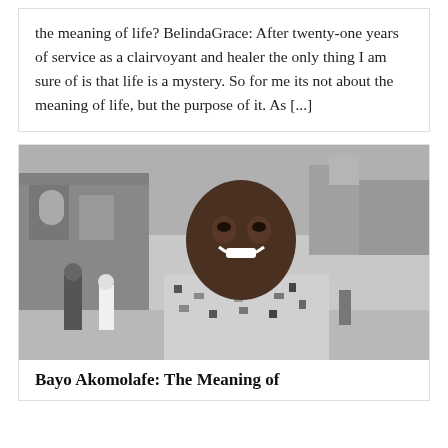BelindaGrace: After twenty-one years of service as a clairvoyant and healer the only thing I am sure of is that life is a mystery. So for me its not about the meaning of life, but the purpose of it. As [...]
[Figure (photo): Black and white photograph of a smiling young Black man in a patterned shirt, standing outdoors in front of a stone church building with other people visible in the background.]
Bayo Akomolafe: The Meaning of